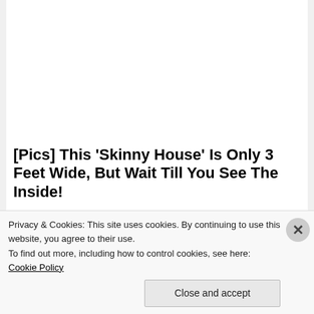[Figure (photo): Exterior photo of a suburban house with siding, front steps, trees, and a green lawn.]
[Pics] This 'Skinny House' Is Only 3 Feet Wide, But Wait Till You See The Inside!
BuzzFond
[Figure (photo): A scientist wearing a hijab and safety goggles holds up a laboratory sample vial. Blue and white lab equipment visible in background.]
Privacy & Cookies: This site uses cookies. By continuing to use this website, you agree to their use.
To find out more, including how to control cookies, see here: Cookie Policy
Close and accept